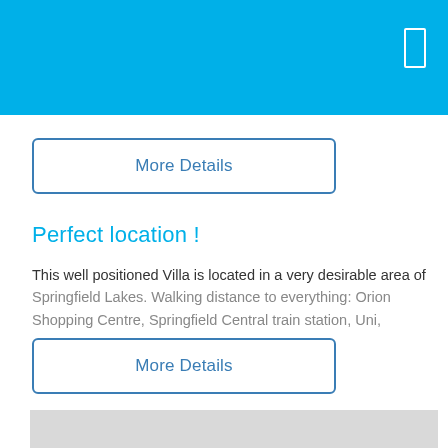[Figure (screenshot): Blue app header bar with white rectangle icon in top right corner]
More Details
Perfect location !
This well positioned Villa is located in a very desirable area of Springfield Lakes. Walking distance to everything: Orion Shopping Centre, Springfield Central train station, Uni,
More Details
[Figure (map): Map area with zoom in (+) and zoom out (-) controls on the left side]